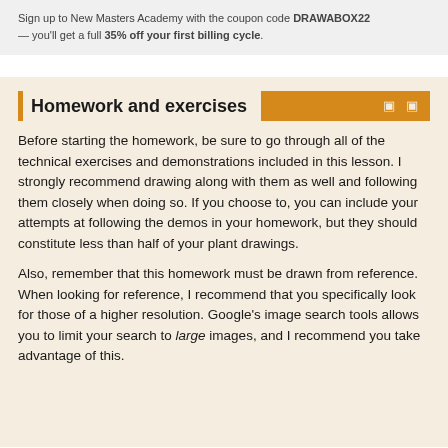Sign up to New Masters Academy with the coupon code DRAWABOX22 — you'll get a full 35% off your first billing cycle.
Homework and exercises
Before starting the homework, be sure to go through all of the technical exercises and demonstrations included in this lesson. I strongly recommend drawing along with them as well and following them closely when doing so. If you choose to, you can include your attempts at following the demos in your homework, but they should constitute less than half of your plant drawings.
Also, remember that this homework must be drawn from reference. When looking for reference, I recommend that you specifically look for those of a higher resolution. Google's image search tools allows you to limit your search to large images, and I recommend you take advantage of this.